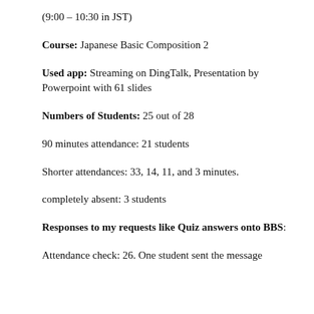(9:00 – 10:30 in JST)
Course: Japanese Basic Composition 2
Used app: Streaming on DingTalk, Presentation by Powerpoint with 61 slides
Numbers of Students: 25 out of 28
90 minutes attendance: 21 students
Shorter attendances: 33, 14, 11, and 3 minutes.
completely absent: 3 students
Responses to my requests like Quiz answers onto BBS:
Attendance check: 26. One student sent the message